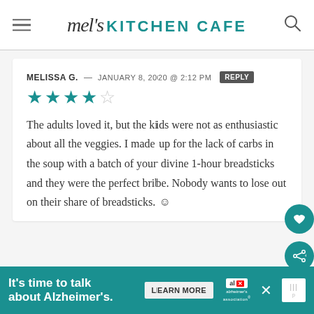mel's KITCHEN CAFE
MELISSA G. — JANUARY 8, 2020 @ 2:12 PM REPLY
[Figure (other): 4 out of 5 teal stars rating]
The adults loved it, but the kids were not as enthusiastic about all the veggies. I made up for the lack of carbs in the soup with a batch of your divine 1-hour breadsticks and they were the perfect bribe. Nobody wants to lose out on their share of breadsticks. ☺
It's time to talk about Alzheimer's. LEARN MORE